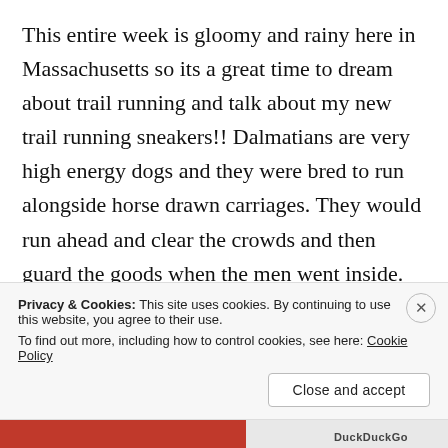This entire week is gloomy and rainy here in Massachusetts so its a great time to dream about trail running and talk about my new trail running sneakers!! Dalmatians are very high energy dogs and they were bred to run alongside horse drawn carriages. They would run ahead and clear the crowds and then guard the goods when the men went inside. That's why dalmatians are associated with firehouses and Budweiser, because firetrucks and the Budweiser trucks were originally horse drawn. What does that mean for
Privacy & Cookies: This site uses cookies. By continuing to use this website, you agree to their use.
To find out more, including how to control cookies, see here: Cookie Policy
Close and accept